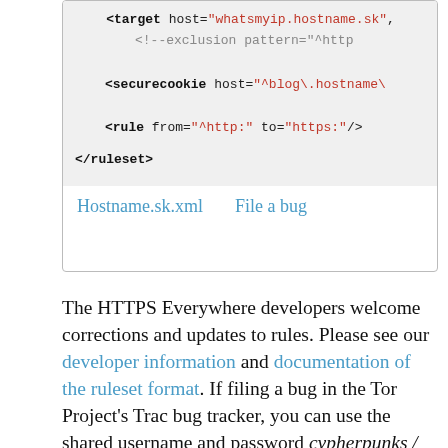<target host="whatsmyip.hostname.sk",
<!--exclusion pattern="^http
<securecookie host="^blog\.hostname\
<rule from="^http:" to="https:"/>
</ruleset>
Hostname.sk.xml   File a bug
The HTTPS Everywhere developers welcome corrections and updates to rules. Please see our developer information and documentation of the ruleset format. If filing a bug in the Tor Project's Trac bug tracker, you can use the shared username and password cypherpunks / writecode; please ensure that the bug is marked as applying to HTTPS Everywhere.